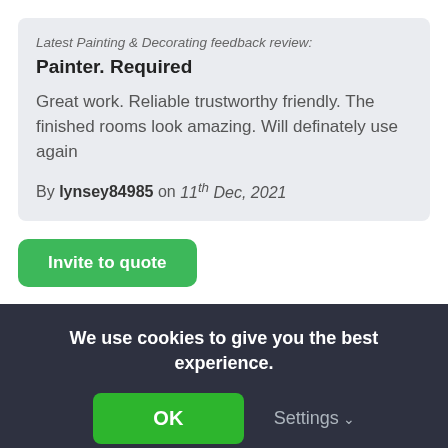Latest Painting & Decorating feedback review:
Painter. Required
Great work. Reliable trustworthy friendly. The finished rooms look amazing. Will definately use again
By lynsey84985 on 11th Dec, 2021
Invite to quote
Loomes Carpentry and Property Services
10 Feedback reviews, 100% positive
Tradesman working in Rugeley
We use cookies to give you the best experience.
OK
Settings